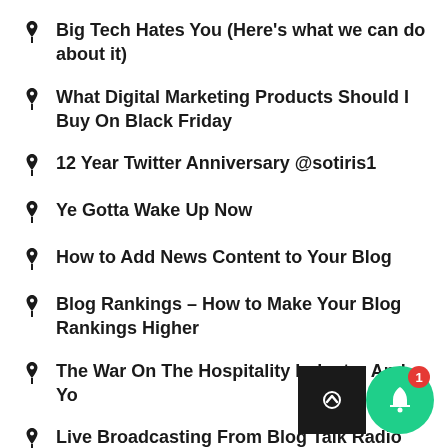Big Tech Hates You (Here's what we can do about it)
What Digital Marketing Products Should I Buy On Black Friday
12 Year Twitter Anniversary @sotiris1
Ye Gotta Wake Up Now
How to Add News Content to Your Blog
Blog Rankings – How to Make Your Blog Rankings Higher
The War On The Hospitality Industry And Yo…
Live Broadcasting From Blog Talk Radio